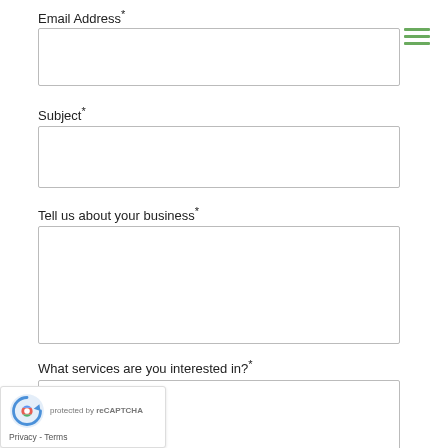Email Address*
[Figure (other): Empty email address text input field]
[Figure (other): Hamburger menu icon with three green horizontal lines]
Subject*
[Figure (other): Empty subject text input field]
Tell us about your business*
[Figure (other): Empty large textarea for business description]
What services are you interested in?*
[Figure (other): Partially visible empty textarea for services]
[Figure (other): reCAPTCHA badge with Privacy and Terms links]